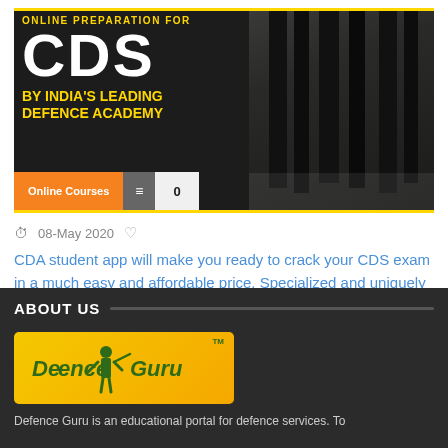[Figure (screenshot): CDS exam online preparation banner with yellow text 'ONLINE PREPARATION FOR CDS BY INDIA'S LEADING DEFENCE ACADEMY' on dark background with soldiers, navigation bar with Online Courses button, menu icon, and cart showing 0]
08-May 2020
CDA student app will make you ready to crack your CDS exam in a much easy and affordable price. Specialized and uniquely designed by experts and R&D team of Cen[...]
ABOUT US
[Figure (logo): Defence Guru logo - yellow/orange background with green italic text 'Defence Guru' and soldier figure graphic, TM mark]
Defence Guru is an educational portal for defence services. To